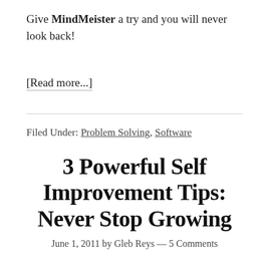Give MindMeister a try and you will never look back!
[Read more...]
Filed Under: Problem Solving, Software
3 Powerful Self Improvement Tips: Never Stop Growing
June 1, 2011 by Gleb Reys — 5 Comments